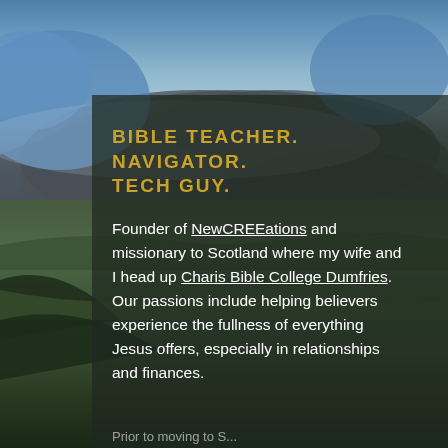[Figure (photo): Landscape photo of Scottish countryside with rolling green hills and dramatic cloudy sky with blue patches]
BIBLE TEACHER. NAVIGATOR. TECH GUY.
Founder of NewCREEations and missionary to Scotland where my wife and I head up Charis Bible College Dumfries. Our passions include helping believers experience the fullness of everything Jesus offers, especially in relationships and finances.